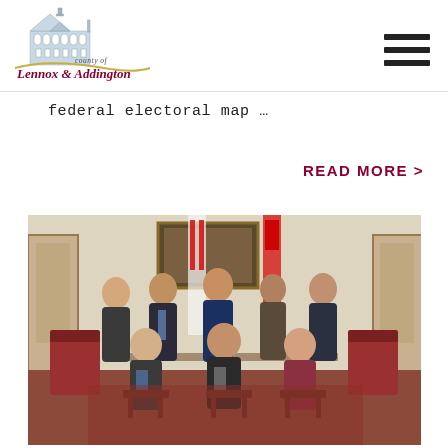County of Lennox & Addington
federal electoral map ...
READ MORE >
[Figure (photo): Group photo of county councillors and officials seated and standing in a formal chamber with Canadian and Ontario flags in the background.]